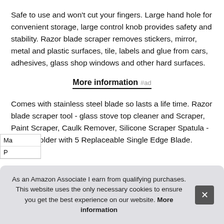Safe to use and won't cut your fingers. Large hand hole for convenient storage, large control knob provides safety and stability. Razor blade scraper removes stickers, mirror, metal and plastic surfaces, tile, labels and glue from cars, adhesives, glass shop windows and other hard surfaces.
More information #ad
Comes with stainless steel blade so lasts a life time. Razor blade scraper tool - glass stove top cleaner and Scraper, Paint Scraper, Caulk Remover, Silicone Scraper Spatula - Razor Holder with 5 Replaceable Single Edge Blade.
As an Amazon Associate I earn from qualifying purchases. This website uses the only necessary cookies to ensure you get the best experience on our website. More information